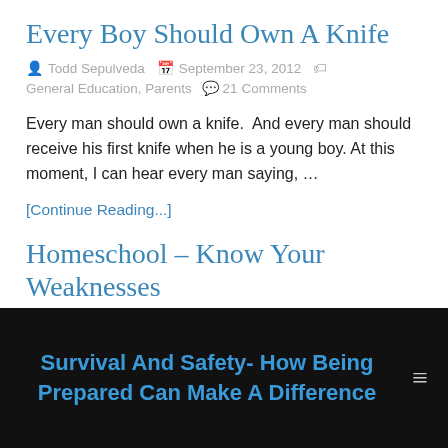Every Boy Should Own A Knife
Todd Sepulveda   September 23, 2012   General Education, Parents   21 Comments
Every man should own a knife.  And every man should receive his first knife when he is a young boy.  At this moment, I can hear every man saying, …
[Continue Reading...]
Homeschool – Know Your Weaknesses
Survival And Safety- How Being Prepared Can Make A Difference